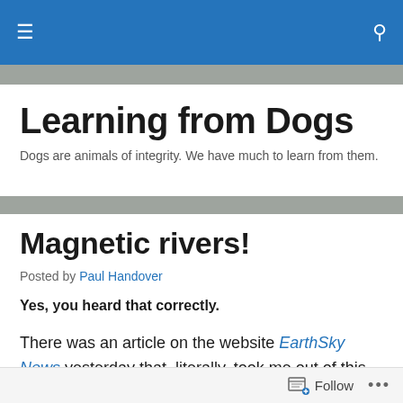Learning from Dogs – navigation bar
Learning from Dogs
Dogs are animals of integrity. We have much to learn from them.
Magnetic rivers!
Posted by Paul Handover
Yes, you heard that correctly.
There was an article on the website EarthSky News yesterday that, literally, took me out of this world. It described the role of magnetic rivers in newly forming star
Follow ...